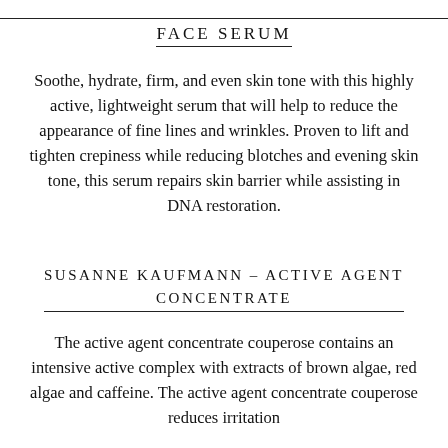FACE SERUM
Soothe, hydrate, firm, and even skin tone with this highly active, lightweight serum that will help to reduce the appearance of fine lines and wrinkles. Proven to lift and tighten crepiness while reducing blotches and evening skin tone, this serum repairs skin barrier while assisting in DNA restoration.
SUSANNE KAUFMANN – ACTIVE AGENT CONCENTRATE
The active agent concentrate couperose contains an intensive active complex with extracts of brown algae, red algae and caffeine. The active agent concentrate couperose reduces irritation and brings down redness, and also covers fine skin...